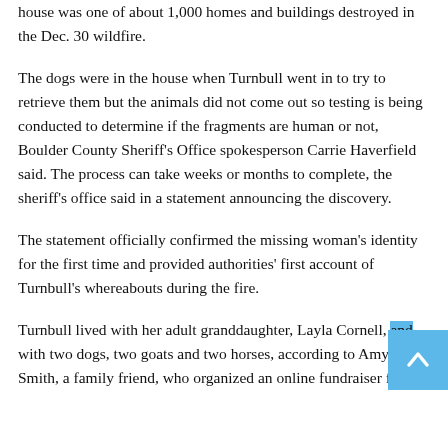house was one of about 1,000 homes and buildings destroyed in the Dec. 30 wildfire.
The dogs were in the house when Turnbull went in to try to retrieve them but the animals did not come out so testing is being conducted to determine if the fragments are human or not, Boulder County Sheriff's Office spokesperson Carrie Haverfield said. The process can take weeks or months to complete, the sheriff's office said in a statement announcing the discovery.
The statement officially confirmed the missing woman's identity for the first time and provided authorities' first account of Turnbull's whereabouts during the fire.
Turnbull lived with her adult granddaughter, Layla Cornell, and with two dogs, two goats and two horses, according to Amy Smith, a family friend, who organized an online fundraiser for